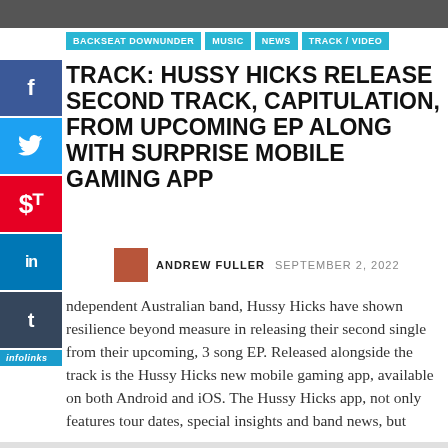[Figure (photo): Top image strip, partially visible photo]
BACKSEAT DOWNUNDER | MUSIC | NEWS | TRACK / VIDEO
TRACK: HUSSY HICKS RELEASE SECOND TRACK, CAPITULATION, FROM UPCOMING EP ALONG WITH SURPRISE MOBILE GAMING APP
ANDREW FULLER  SEPTEMBER 2, 2022
Independent Australian band, Hussy Hicks have shown resilience beyond measure in releasing their second single from their upcoming, 3 song EP. Released alongside the track is the Hussy Hicks new mobile gaming app, available on both Android and iOS. The Hussy Hicks app, not only features tour dates, special insights and band news, but
[Figure (screenshot): Advertisement banner: Nike. Just Do It — Inspiring the world's athletes, Nike delivers the deals. www.nike.com]